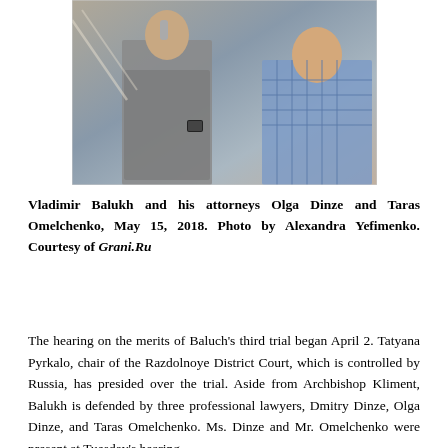[Figure (photo): Photo of Vladimir Balukh and his attorneys Olga Dinze and Taras Omelchenko in a courtroom, May 15, 2018. Photo by Alexandra Yefimenko. Courtesy of Grani.Ru.]
Vladimir Balukh and his attorneys Olga Dinze and Taras Omelchenko, May 15, 2018. Photo by Alexandra Yefimenko. Courtesy of Grani.Ru
The hearing on the merits of Baluch's third trial began April 2. Tatyana Pyrkalo, chair of the Razdolnoye District Court, which is controlled by Russia, has presided over the trial. Aside from Archbishop Kliment, Balukh is defended by three professional lawyers, Dmitry Dinze, Olga Dinze, and Taras Omelchenko. Ms. Dinze and Mr. Omelchenko were present at Tuesday's hearing.